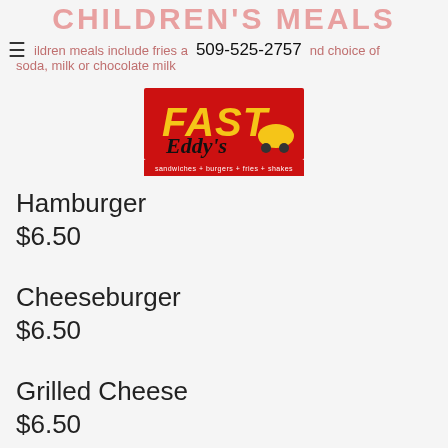CHILDREN'S MEALS
All children meals include fries and choice of soda, milk or chocolate milk
509-525-2757
[Figure (logo): Fast Eddy's logo - red background with yellow FAST text and dark Eddy's script, tagline: sandwiches + burgers + fries + shakes]
Hamburger
$6.50
Cheeseburger
$6.50
Grilled Cheese
$6.50